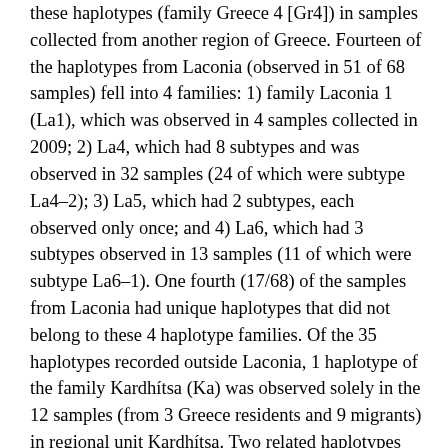these haplotypes (family Greece 4 [Gr4]) in samples collected from another region of Greece. Fourteen of the haplotypes from Laconia (observed in 51 of 68 samples) fell into 4 families: 1) family Laconia 1 (La1), which was observed in 4 samples collected in 2009; 2) La4, which had 8 subtypes and was observed in 32 samples (24 of which were subtype La4–2); 3) La5, which had 2 subtypes, each observed only once; and 4) La6, which had 3 subtypes observed in 13 samples (11 of which were subtype La6–1). One fourth (17/68) of the samples from Laconia had unique haplotypes that did not belong to these 4 haplotype families. Of the 35 haplotypes recorded outside Laconia, 1 haplotype of the family Kardhítsa (Ka) was observed solely in the 12 samples (from 3 Greece residents and 9 migrants) in regional unit Kardhítsa. Two related haplotypes (of family Gr1) were observed in the same person who had a relapse in February 2012 seven